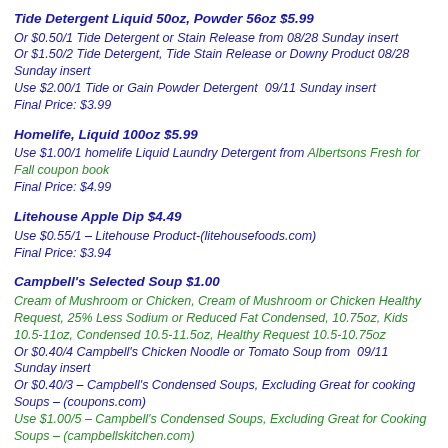Tide Detergent Liquid 50oz, Powder 56oz $5.99
Or $0.50/1 Tide Detergent or Stain Release from 08/28 Sunday insert
Or $1.50/2 Tide Detergent, Tide Stain Release or Downy Product 08/28 Sunday insert
Use $2.00/1 Tide or Gain Powder Detergent  09/11 Sunday insert
Final Price: $3.99
Homelife, Liquid 100oz $5.99
Use $1.00/1 homelife Liquid Laundry Detergent from Albertsons Fresh for Fall coupon book
Final Price: $4.99
Litehouse Apple Dip $4.49
Use $0.55/1 – Litehouse Product-(litehousefoods.com)
Final Price: $3.94
Campbell's Selected Soup $1.00
Cream of Mushroom or Chicken, Cream of Mushroom or Chicken Healthy Request, 25% Less Sodium or Reduced Fat Condensed, 10.75oz, Kids 10.5-11oz, Condensed 10.5-11.5oz, Healthy Request 10.5-10.75oz
Or $0.40/4 Campbell's Chicken Noodle or Tomato Soup from  09/11 Sunday insert
Or $0.40/3 – Campbell's Condensed Soups, Excluding Great for cooking Soups – (coupons.com)
Use $1.00/5 – Campbell's Condensed Soups, Excluding Great for Cooking Soups – (campbellskitchen.com)
Or $0.40/3 Campbell's Healthy Request Condensed Soup from 08/14 Sunday insert
Final Price: as low as $0.80 each when you buy 5